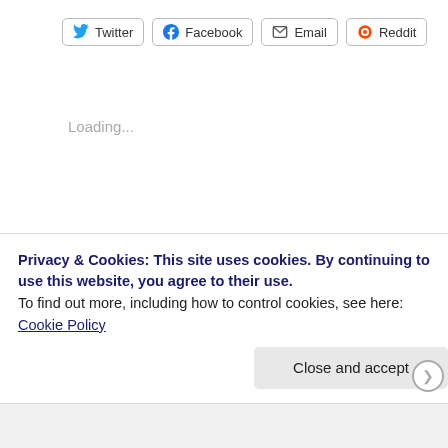[Figure (other): Social share buttons: Twitter, Facebook, Email, Reddit]
Loading...
August 9, 2016   clean cookstoves, Guatemala, Henry Red Cloud, indigenous, International Program, La Bendición, Lakota Solar Enterprises, sustainable development, Tribal Lands program, Tribal Renewable Energy Program, Ut'z Che'   agroforestry, Central America, clean cookstoves, cookstoves, food security, green job training, green jobs, Guatemala, Henry Red Cloud, indigenous peoples, indigenous rights, Lakota, Pine Ridge, Pine Ridge Reservation, Red Cloud Renewable Energy
Privacy & Cookies: This site uses cookies. By continuing to use this website, you agree to their use.
To find out more, including how to control cookies, see here: Cookie Policy
Close and accept